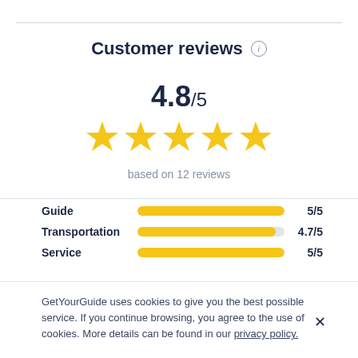Customer reviews
4.8/5
[Figure (other): Five gold stars rating display]
based on 12 reviews
| Category | Bar | Score |
| --- | --- | --- |
| Guide |  | 5/5 |
| Transportation |  | 4.7/5 |
| Service |  | 5/5 |
GetYourGuide uses cookies to give you the best possible service. If you continue browsing, you agree to the use of cookies. More details can be found in our privacy policy.